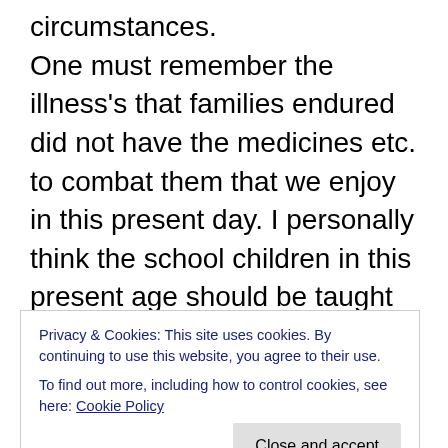circumstances. One must remember the illness's that families endured did not have the medicines etc. to combat them that we enjoy in this present day. I personally think the school children in this present age should be taught about what happened in Great Britain during the war years. Let them understand what their Great Grand Parents went through in order to give them a better life. I could write about this for evermore. Sadly I know and believe they had a very rough time and it should not be forgotten. The trouble was they still had a tough time in the post war ration book years.
Privacy & Cookies: This site uses cookies. By continuing to use this website, you agree to their use. To find out more, including how to control cookies, see here: Cookie Policy
Close and accept
women, who were on the home front and valiantly put the